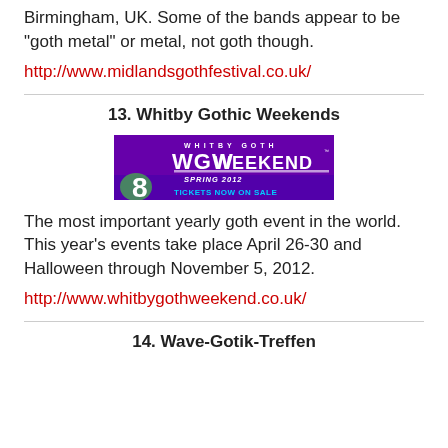Birmingham, UK. Some of the bands appear to be "goth metal" or metal, not goth though.
http://www.midlandsgothfestival.co.uk/
13. Whitby Gothic Weekends
[Figure (logo): Whitby Goth Weekend logo banner — purple background with large stylized text 'WGW WEEKEND' and 'WHITBY GOTH' above, 'SPRING 2012' and 'TICKETS NOW ON SALE' below, with a large number 8 and green orb at lower left.]
The most important yearly goth event in the world. This year's events take place April 26-30 and Halloween through November 5, 2012.
http://www.whitbygothweekend.co.uk/
14. Wave-Gotik-Treffen